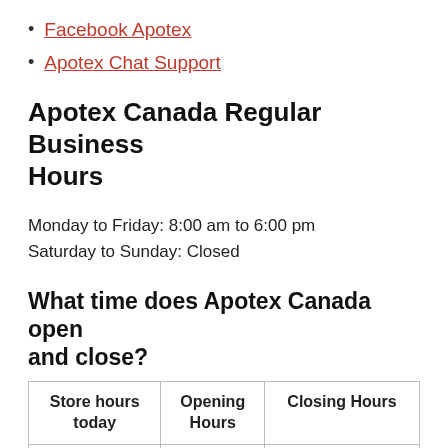Facebook Apotex
Apotex Chat Support
Apotex Canada Regular Business Hours
Monday to Friday: 8:00 am to 6:00 pm
Saturday to Sunday: Closed
What time does Apotex Canada open and close?
| Store hours today | Opening Hours | Closing Hours |
| --- | --- | --- |
|  |  |  |